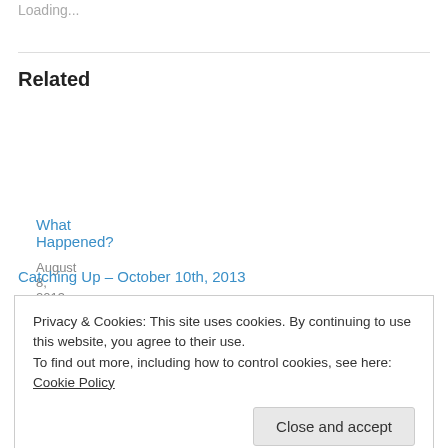Loading...
Related
What Happened?
August 8, 2013
With 43 comments
COUNTS
November 15, 2013
With 7 comments
Catching Up – October 10th, 2013
Privacy & Cookies: This site uses cookies. By continuing to use this website, you agree to their use.
To find out more, including how to control cookies, see here: Cookie Policy
Close and accept